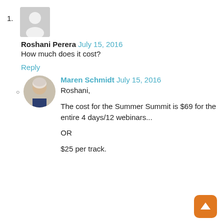1.
[Figure (illustration): Generic user avatar placeholder (gray circle with white silhouette)]
Roshani Perera July 15, 2016
How much does it cost?
Reply
[Figure (photo): Photo of Maren Schmidt, a woman with short gray hair]
Maren Schmidt July 15, 2016
Roshani,
The cost for the Summer Summit is $69 for the entire 4 days/12 webinars...
OR
$25 per track.
[Figure (illustration): Orange rounded square button with white upward arrow]